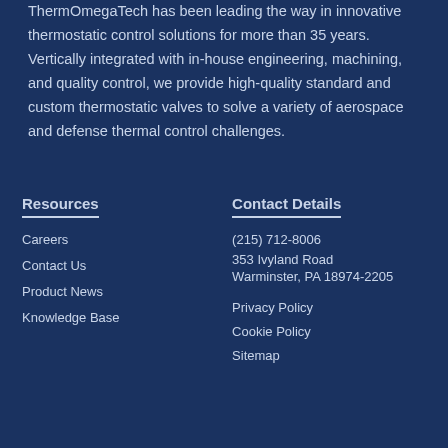ThermOmegaTech has been leading the way in innovative thermostatic control solutions for more than 35 years. Vertically integrated with in-house engineering, machining, and quality control, we provide high-quality standard and custom thermostatic valves to solve a variety of aerospace and defense thermal control challenges.
Resources
Careers
Contact Us
Product News
Knowledge Base
Contact Details
(215) 712-8006
353 Ivyland Road
Warminster, PA 18974-2205
Privacy Policy
Cookie Policy
Sitemap